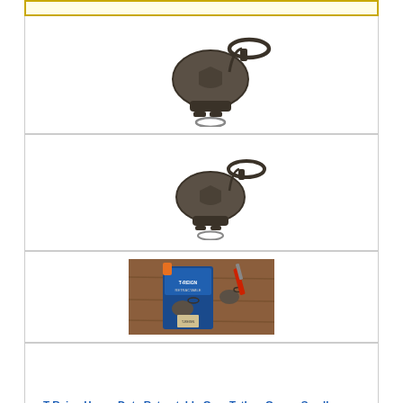[Figure (photo): Top stub of a yellow-bordered product card (cut off at top of page)]
[Figure (photo): T-Reign heavy-duty retractable gear tether in dark olive/grey color with carabiner clip, shown from above, larger view]
[Figure (photo): T-Reign heavy-duty retractable gear tether in dark olive/grey color with carabiner clip, shown from above, smaller view]
[Figure (photo): T-Reign product packaging showing two gear tethers, a multi-tool, and product box on a wooden surface]
T-Reign Heavy-Duty Retractable Gear Tether, Green, Small